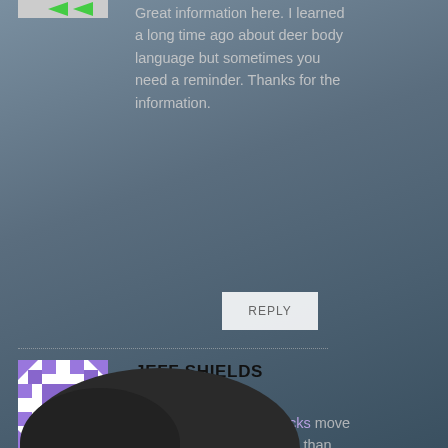[Figure (illustration): Partially visible user avatar at top of page (green arrow icon visible)]
Great information here. I learned a long time ago about deer body language but sometimes you need a reminder. Thanks for the information.
REPLY
[Figure (illustration): User avatar icon — purple/violet mosaic square pattern on white background for Jeff Shields]
JEFF SHIELDS
12/01/2009
This is so true young bucks move more early in the morning than the bigger bucks that is you see a
[Figure (photo): Dark silhouette of what appears to be a deer or animal at the bottom of the page against a grey-blue sky background]